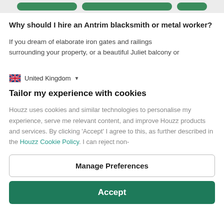[Figure (screenshot): Top navigation bar with green rounded buttons on grey background]
Why should I hire an Antrim blacksmith or metal worker?
If you dream of elaborate iron gates and railings surrounding your property, or a beautiful Juliet balcony or
🇬🇧 United Kingdom ▾
Tailor my experience with cookies
Houzz uses cookies and similar technologies to personalise my experience, serve me relevant content, and improve Houzz products and services. By clicking 'Accept' I agree to this, as further described in the Houzz Cookie Policy. I can reject non-
Manage Preferences
Accept